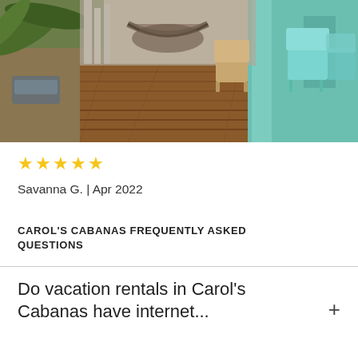[Figure (photo): Outdoor porch/walkway of a tropical cabaña. Wooden deck floor, a hammock hanging, turquoise/mint painted walls and railings, wooden Adirondack chairs, palm trees visible on the left side, natural light.]
★★★★★
Savanna G. | Apr 2022
CAROL'S CABANAS FREQUENTLY ASKED QUESTIONS
Do vacation rentals in Carol's Cabanas have internet...